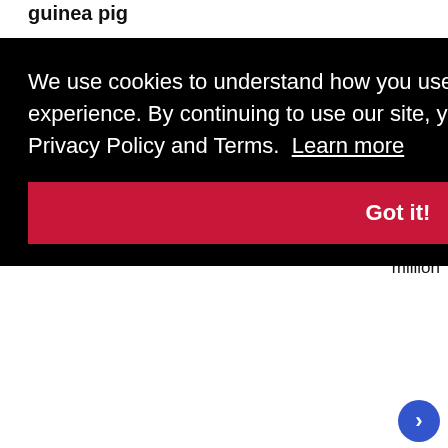guinea pig
labor
million
We use cookies to understand how you use our site and to improve your experience. By continuing to use our site, you accept our use of cookies, revised Privacy Policy and Terms.  Learn more
Got it!
[Figure (photo): Photo strip showing moon image, Moonshot sign at a venue, and Famous Pittsburghers in Space exhibit]
[Figure (logo): City Paper logo circular red and white]
[Figure (screenshot): Groupon ad: Groupon Official Site | Online Shopping Deals - Discover & Save with Over 300k of the Best Deals - www.groupon.com]